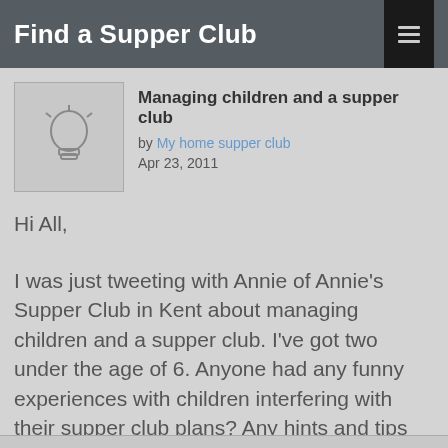Find a Supper Club
Managing children and a supper club
by My home supper club
Apr 23, 2011
Hi All,
I was just tweeting with Annie of Annie's Supper Club in Kent about managing children and a supper club. I've got two under the age of 6. Anyone had any funny experiences with children interfering with their supper club plans? Any hints and tips on kid wrangling?
Aoife